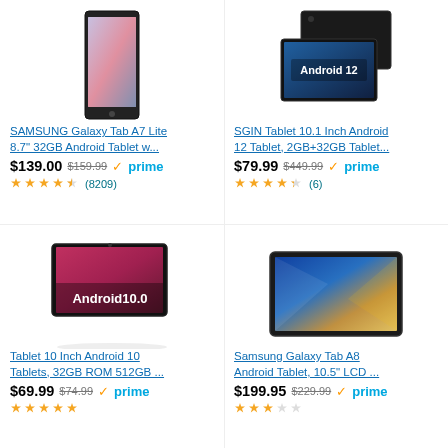[Figure (photo): SAMSUNG Galaxy Tab A7 Lite tablet product image]
SAMSUNG Galaxy Tab A7 Lite 8.7" 32GB Android Tablet w...
$139.00 $159.99 prime
4.5 stars (8209)
[Figure (photo): SGIN Tablet 10.1 Inch Android 12 tablet product image with 'Android 12' label]
SGIN Tablet 10.1 Inch Android 12 Tablet, 2GB+32GB Tablet...
$79.99 $449.99 prime
4 stars (6)
[Figure (photo): Tablet 10 Inch Android 10 tablet product image with 'Android10.0' label]
Tablet 10 Inch Android 10 Tablets, 32GB ROM 512GB ...
$69.99 $74.99 prime
[Figure (photo): Samsung Galaxy Tab A8 Android Tablet product image]
Samsung Galaxy Tab A8 Android Tablet, 10.5" LCD ...
$199.95 $229.99 prime